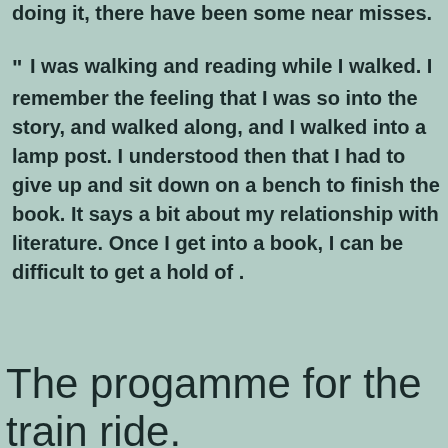doing it, there have been some near misses.
“ I was walking and reading while I walked. I remember the feeling that I was so into the story, and walked along, and I walked into a lamp post. I understood then that I had to give up and sit down on a bench to finish the book. It says a bit about my relationship with literature. Once I get into a book, I can be difficult to get a hold of .
The progamme for the train ride.